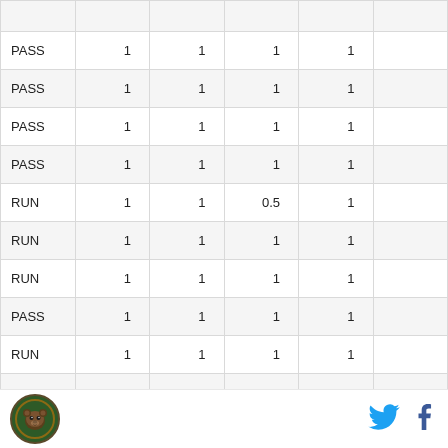|  |  |  |  |  |  |
| --- | --- | --- | --- | --- | --- |
| PASS | 1 | 1 | 1 | 1 |  |
| PASS | 1 | 1 | 1 | 1 |  |
| PASS | 1 | 1 | 1 | 1 |  |
| PASS | 1 | 1 | 1 | 1 |  |
| RUN | 1 | 1 | 0.5 | 1 |  |
| RUN | 1 | 1 | 1 | 1 |  |
| RUN | 1 | 1 | 1 | 1 |  |
| PASS | 1 | 1 | 1 | 1 |  |
| RUN | 1 | 1 | 1 | 1 |  |
| PASS | 1 | 1 | 1 | 1 |  |
[Figure (logo): Circular team logo with bear mascot on green background]
[Figure (other): Twitter bird icon in cyan blue]
[Figure (other): Facebook 'f' icon in dark blue]